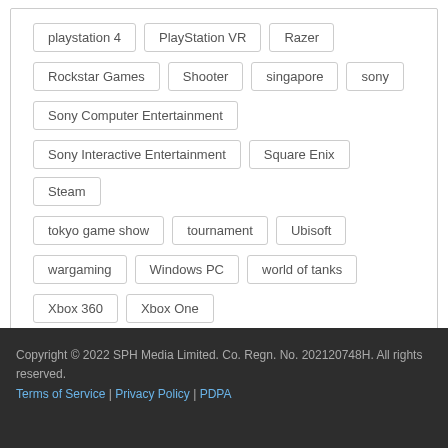playstation 4
PlayStation VR
Razer
Rockstar Games
Shooter
singapore
sony
Sony Computer Entertainment
Sony Interactive Entertainment
Square Enix
Steam
tokyo game show
tournament
Ubisoft
wargaming
Windows PC
world of tanks
Xbox 360
Xbox One
Copyright © 2022 SPH Media Limited. Co. Regn. No. 202120748H. All rights reserved.
Terms of Service | Privacy Policy | PDPA